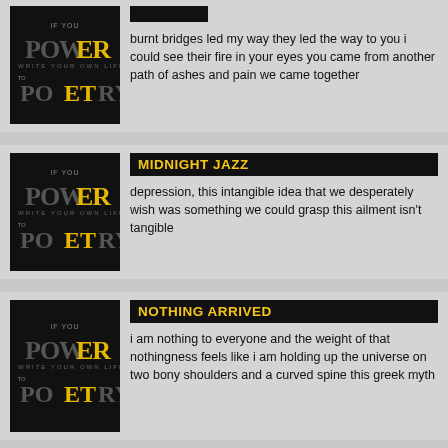[Figure (illustration): Power to Poetry book cover - black background with stylized text]
burnt bridges led my way they led the way to you i could see their fire in your eyes you came from another path of ashes and pain we came together
[Figure (illustration): Power to Poetry book cover - black background with stylized text]
MIDNIGHT JAZZ
depression,  this intangible idea that we desperately wish was something we could grasp this ailment isn't tangible
[Figure (illustration): Power to Poetry book cover - black background with stylized text]
NOTHING ARRIVED
i am nothing to everyone and the weight of that nothingness feels like i am holding up the universe on two bony shoulders and a curved spine this greek myth